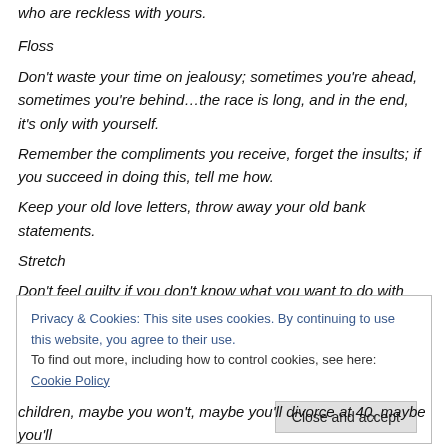who are reckless with yours.
Floss
Don't waste your time on jealousy; sometimes you're ahead, sometimes you're behind…the race is long, and in the end, it's only with yourself.
Remember the compliments you receive, forget the insults; if you succeed in doing this, tell me how.
Keep your old love letters, throw away your old bank statements.
Stretch
Don't feel guilty if you don't know what you want to do with your life…the most interesting people I know didn't know at 22 what they
Privacy & Cookies: This site uses cookies. By continuing to use this website, you agree to their use. To find out more, including how to control cookies, see here: Cookie Policy
children, maybe you won't, maybe you'll divorce at 40, maybe you'll